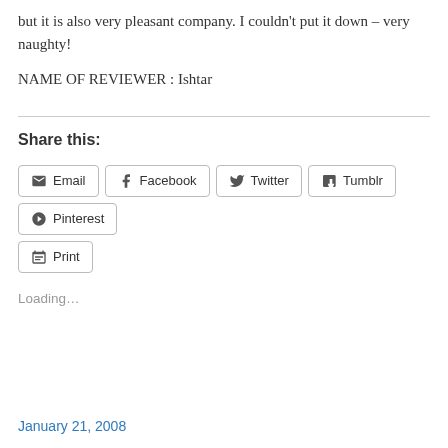but it is also very pleasant company. I couldn't put it down – very naughty!
NAME OF REVIEWER : Ishtar
Share this:
Email  Facebook  Twitter  Tumblr  Pinterest  Print
Loading…
January 21, 2008